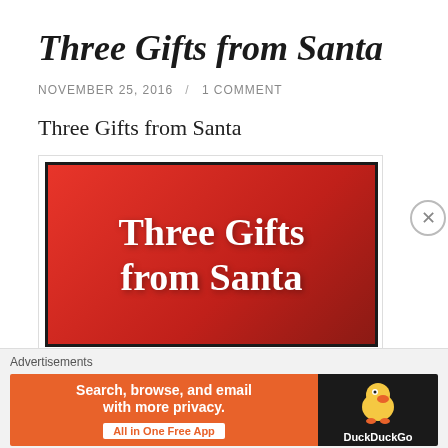Three Gifts from Santa
NOVEMBER 25, 2016  /  1 COMMENT
Three Gifts from Santa
[Figure (illustration): Red gradient banner image with white serif bold text reading 'Three Gifts from Santa', dark border]
Advertisements
[Figure (screenshot): DuckDuckGo advertisement banner: orange left panel with 'Search, browse, and email with more privacy. All in One Free App' and dark right panel with DuckDuckGo duck logo and brand name]